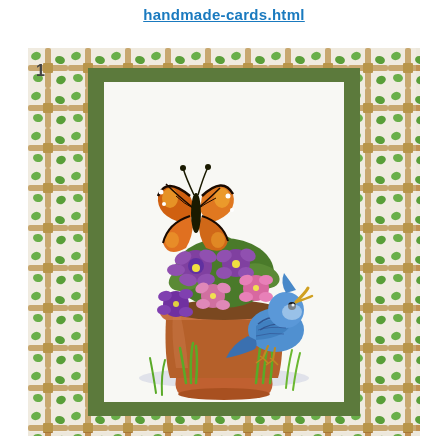handmade-cards.html
[Figure (illustration): A handmade greeting card featuring a trellis and ivy patterned border paper on the outside with a green cardstock mat layer inside. The inner white panel shows a stamped and colored illustration of a blue jay bird perched on a terracotta flower pot filled with purple and pink flowers, with a monarch butterfly flying above.]